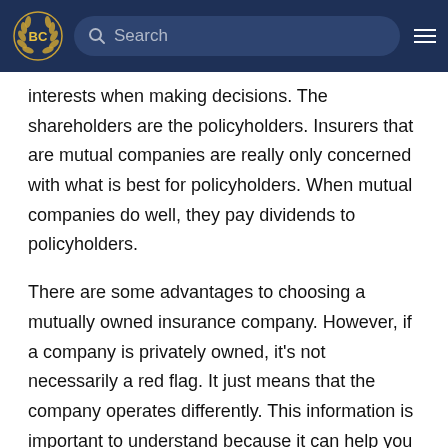BC [logo] Search [menu]
interests when making decisions. The shareholders are the policyholders. Insurers that are mutual companies are really only concerned with what is best for policyholders. When mutual companies do well, they pay dividends to policyholders.
There are some advantages to choosing a mutually owned insurance company. However, if a company is privately owned, it's not necessarily a red flag. It just means that the company operates differently. This information is important to understand because it can help you decide how you want to proceed with an insurance company.
If you're working with a life insurance agency or quote service, you need to understand how they operate. Do they